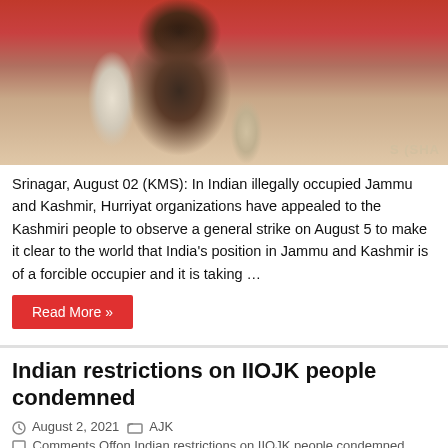[Figure (photo): Photo of a man speaking at a microphone with hand raised, against a red banner background with posters visible]
Srinagar, August 02 (KMS): In Indian illegally occupied Jammu and Kashmir, Hurriyat organizations have appealed to the Kashmiri people to observe a general strike on August 5 to make it clear to the world that India's position in Jammu and Kashmir is of a forcible occupier and it is taking …
Read More »
Indian restrictions on IIOJK people condemned
August 2, 2021   AJK
Comments Off on Indian restrictions on IIOJK people condemned
[Figure (photo): Partial photo at bottom of page showing people, cropped]